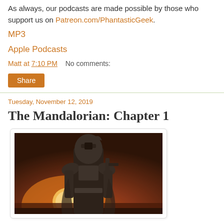As always, our podcasts are made possible by those who support us on Patreon.com/PhantasticGeek.
MP3
Apple Podcasts
Matt at 7:10 PM   No comments:
Share
Tuesday, November 12, 2019
The Mandalorian: Chapter 1
[Figure (photo): Promotional artwork for The Mandalorian showing an armored bounty hunter figure in Mandalorian armor against a warm orange sunset background with a large sun on the horizon.]